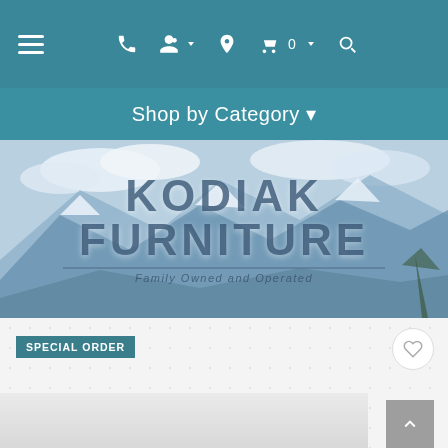[Figure (screenshot): Top navigation bar with hamburger menu icon on left, and icons (phone, user, location, cart with 0, search) on right, on teal background]
Shop by Category ▾
[Figure (photo): Hero banner showing snowy mountain landscape with 'KODIAK FURNITURE' text overlaid and tagline 'Family Owned and Operated']
SPECIAL ORDER
[Figure (other): Product listing area with light gray background, special order badge, wishlist heart button, back-to-top arrow button, and partial product image at bottom]